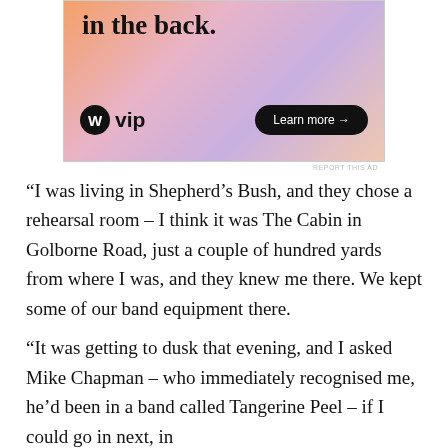[Figure (advertisement): WordPress VIP advertisement with colorful gradient background, text partially visible 'in the back.' with WordPress logo and VIP branding and 'Learn more' button]
REPORT THIS AD
“I was living in Shepherd’s Bush, and they chose a rehearsal room – I think it was The Cabin in Golborne Road, just a couple of hundred yards from where I was, and they knew me there. We kept some of our band equipment there.
“It was getting to dusk that evening, and I asked Mike Chapman – who immediately recognised me, he’d been in a band called Tangerine Peel – if I could go in next, in
Advertisements
[Figure (advertisement): Bloomingdale's advertisement showing a woman with a large hat, text 'View Today's Top Deals!' and 'SHOP NOW >' button]